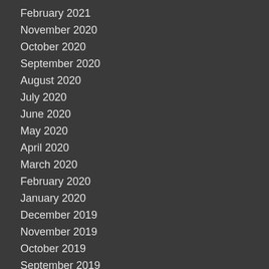February 2021
November 2020
October 2020
September 2020
August 2020
July 2020
June 2020
May 2020
April 2020
March 2020
February 2020
January 2020
December 2019
November 2019
October 2019
September 2019
August 2019
July 2019
June 2019
May 2019